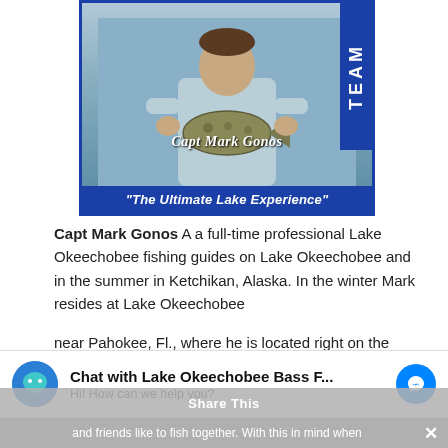[Figure (photo): Photo of Capt Mark Gonos holding a large bass fish, wearing a light blue shirt, with a blue border and 'TEAM' text vertically on the right side, and 'Capt Mark Gonos' caption overlay, and tagline 'The Ultimate Lake Experience' at the bottom.]
Capt Mark Gonos A a full-time professional Lake Okeechobee fishing guides on Lake Okeechobee and in the summer in Ketchikan, Alaska. In the winter Mark resides at Lake Okeechobee
near Pahokee, Fl., where he is located right on the waters of Lake Okeechobee.
Chat with Lake Okeechobee Bass F... Hi! How can we help you?
and friends like to fish together. With this in mind when